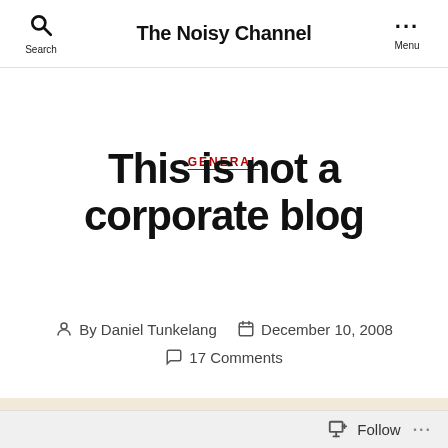The Noisy Channel
GENERAL
This is not a corporate blog
By Daniel Tunkelang  December 10, 2008  17 Comments